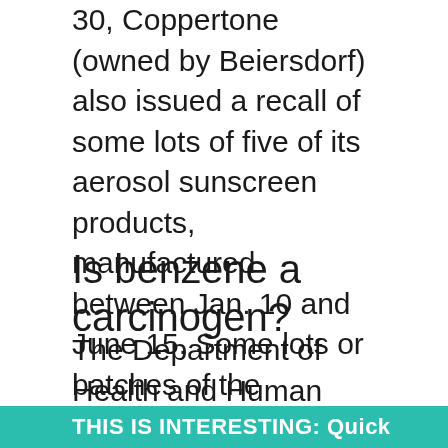30, Coppertone (owned by Beiersdorf) also issued a recall of some lots of five of its aerosol sunscreen products, manufactured between Jan. 10 and June 15. Some lots or batches of the following products are affected: Coppertone Pure & Simple SPF 50 aerosol sunscreen (5 oz)
Is benzene a carcinogen?
The Department of Health and Human Services (DHHS) has determined that benzene causes cancer in humans. Long-term exposure to high levels of benzene in the air can cause leukemia, cancer of the blood-forming organs.
THIS IS INTERESTING: Quick